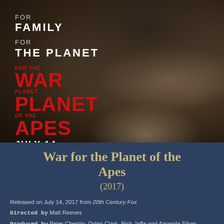[Figure (photo): Movie poster for War for the Planet of the Apes (2017). Dark image showing close-up of an ape's face. Text reads: FOR FAMILY, FOR THE PLANET, WAR FOR THE PLANET OF THE APES, JULY 14]
War for the Planet of the Apes
(2017)
Released on July 14, 2017 from 20th Century Fox
Directed by Matt Reeves
Produced by Peter Chernin, Dylan Clark, Rick Jaffa and Amanda Silver
What Michael Says...